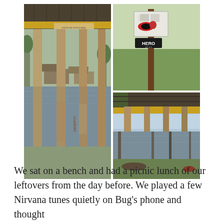[Figure (photo): A collage of three photos: left photo shows the underside of a bridge with large wooden/concrete pillars standing in calm water with graffiti on them and a house visible in the background; top-right photo shows a wooden post/sign pole covered in stickers and signs in a grassy area; bottom-right photo shows another view under a bridge with wooden pilings in water and open sky visible.]
We sat on a bench and had a picnic lunch of our leftovers from the day before. We played a few Nirvana tunes quietly on Bug's phone and thought